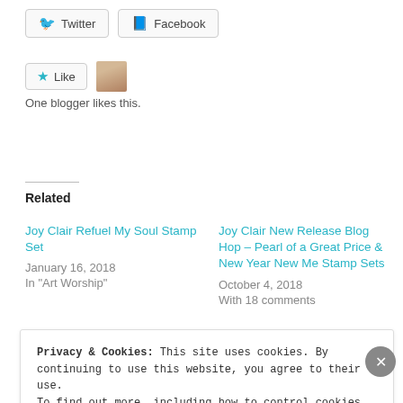[Figure (other): Twitter and Facebook share buttons]
[Figure (other): Like button with star icon and user avatar thumbnail]
One blogger likes this.
Related
Joy Clair Refuel My Soul Stamp Set
January 16, 2018
In "Art Worship"
Joy Clair New Release Blog Hop – Pearl of a Great Price & New Year New Me Stamp Sets
October 4, 2018
With 18 comments
Joy Clair New Release Blog
Privacy & Cookies: This site uses cookies. By continuing to use this website, you agree to their use.
To find out more, including how to control cookies, see here: Cookie Policy
Close and accept